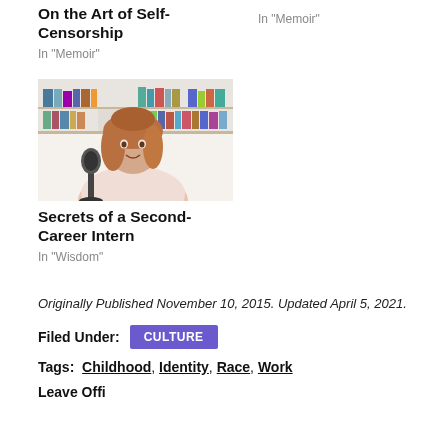On the Art of Self-Censorship
In "Memoir"
In "Memoir"
[Figure (photo): Woman with light brown hair sitting in front of a microphone and bookshelves, smiling, wearing a pink/white shirt]
Secrets of a Second-Career Intern
In "Wisdom"
Originally Published November 10, 2015. Updated April 5, 2021.
Filed Under: CULTURE
Tags: Childhood, Identity, Race, Work
Leave a Re...